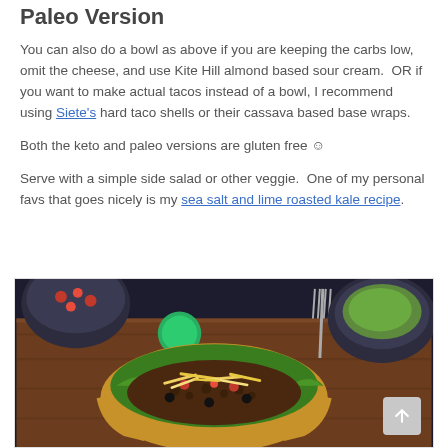Paleo Version
You can also do a bowl as above if you are keeping the carbs low, omit the cheese, and use Kite Hill almond based sour cream.  OR if you want to make actual tacos instead of a bowl, I recommend using Siete's hard taco shells or their cassava based base wraps.
Both the keto and paleo versions are gluten free ☺
Serve with a simple side salad or other veggie.  One of my personal favs that goes nicely is my sea salt and lime roasted kale recipe.
[Figure (photo): Food photo showing a taco salad bowl with ground beef, shredded cheese, lettuce, tomatoes, and black olives on a wooden board, with bowls of salsa and guacamole and a fork in the background]